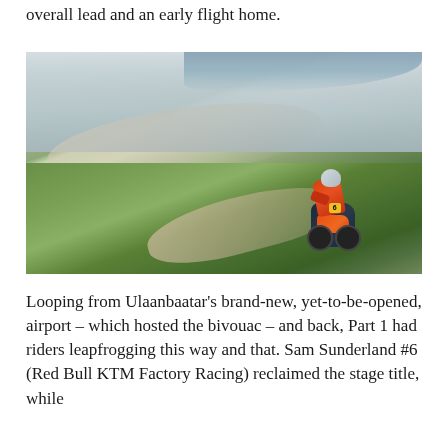overall lead and an early flight home.
[Figure (photo): A motorcycle racer wearing an orange and black kit with number 6, riding a KTM dirt bike on a steep green hillside with misty mountains in the background during an off-road rally race.]
Looping from Ulaanbaatar's brand-new, yet-to-be-opened, airport – which hosted the bivouac – and back, Part 1 had riders leapfrogging this way and that. Sam Sunderland #6 (Red Bull KTM Factory Racing) reclaimed the stage title, while